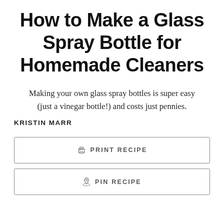How to Make a Glass Spray Bottle for Homemade Cleaners
Making your own glass spray bottles is super easy (just a vinegar bottle!) and costs just pennies.
KRISTIN MARR
PRINT RECIPE
PIN RECIPE